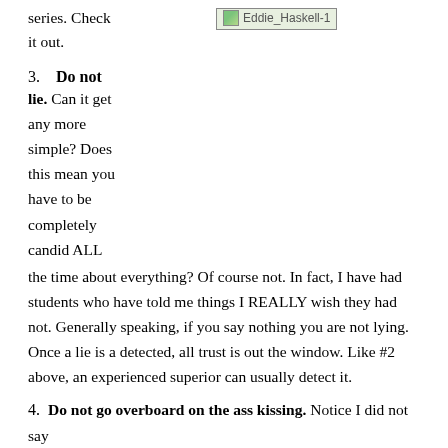series. Check it out.
[Figure (photo): Broken image placeholder labeled Eddie_Haskell-1]
3. Do not lie. Can it get any more simple? Does this mean you have to be completely candid ALL the time about everything? Of course not. In fact, I have had students who have told me things I REALLY wish they had not. Generally speaking, if you say nothing you are not lying. Once a lie is a detected, all trust is out the window. Like #2 above, an experienced superior can usually detect it.
4. Do not go overboard on the ass kissing. Notice I did not say NEVER ass kiss. An appropriate amount of ass kissing is fine though if